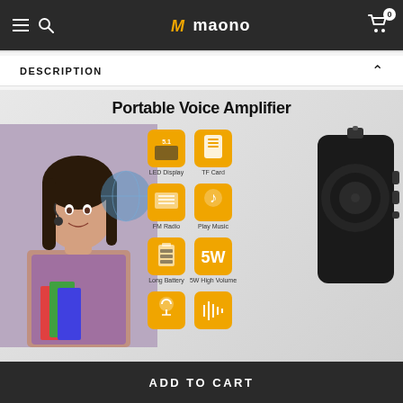Maono — navigation bar with hamburger menu, search icon, logo, and cart (0)
DESCRIPTION
[Figure (photo): Product banner for Maono Portable Voice Amplifier showing a female teacher wearing a headset microphone holding books, six feature icons (LED Display, TF Card, FM Radio, Play Music, Long Battery, 5W High Volume) on orange square backgrounds, and a black portable voice amplifier device]
ADD TO CART